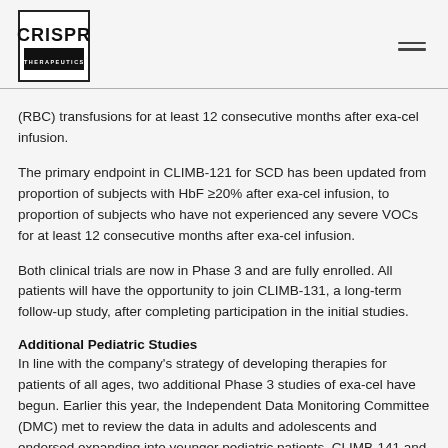CRISPR THERAPEUTICS logo and navigation
(RBC) transfusions for at least 12 consecutive months after exa-cel infusion.
The primary endpoint in CLIMB-121 for SCD has been updated from proportion of subjects with HbF ≥20% after exa-cel infusion, to proportion of subjects who have not experienced any severe VOCs for at least 12 consecutive months after exa-cel infusion.
Both clinical trials are now in Phase 3 and are fully enrolled. All patients will have the opportunity to join CLIMB-131, a long-term follow-up study, after completing participation in the initial studies.
Additional Pediatric Studies
In line with the company's strategy of developing therapies for patients of all ages, two additional Phase 3 studies of exa-cel have begun. Earlier this year, the Independent Data Monitoring Committee (DMC) met to review the data in adults and adolescents and endorsed expanding into younger pediatric patients. CLIMB-141 and CLIMB-151 are Phase 3 open-label trials